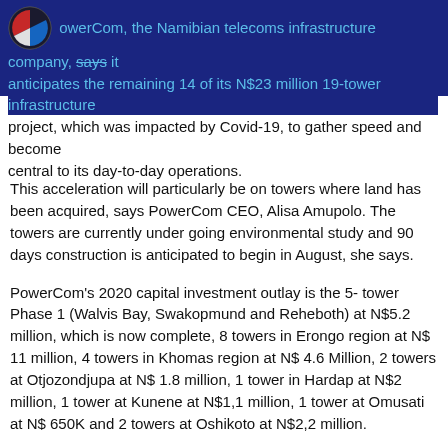PowerCom, the Namibian telecoms infrastructure company, says it anticipates the remaining 14 of its N$23 million 19-tower infrastructure project, which was impacted by Covid-19, to gather speed and become central to its day-to-day operations.
This acceleration will particularly be on towers where land has been acquired, says PowerCom CEO, Alisa Amupolo. The towers are currently under going environmental study and 90 days construction is anticipated to begin in August, she says.
PowerCom's 2020 capital investment outlay is the 5- tower Phase 1 (Walvis Bay, Swakopmund and Reheboth) at N$5.2 million, which is now complete, 8 towers in Erongo region at N$ 11 million, 4 towers in Khomas region at N$ 4.6 Million, 2 towers at Otjozondjupa at N$ 1.8 million, 1 tower in Hardap at N$2 million, 1 tower at Kunene at N$1,1 million, 1 tower at Omusati at N$ 650K and 2 towers at Oshikoto at N$2,2 million.
Amupolo explains that the company's objective in commissioning the towers is to enable telecoms operators constantly seeking to improve their coverage, and increase capacity to deploy a vast array of services to customers which may range from 2G, 3G, 4G and 4.5G services.
“By providing these infrastructures, it means individuals and